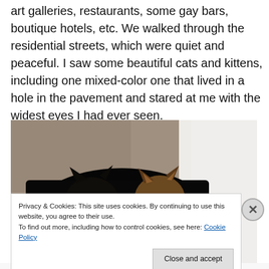art galleries, restaurants, some gay bars, boutique hotels, etc. We walked through the residential streets, which were quiet and peaceful. I saw some beautiful cats and kittens, including one mixed-color one that lived in a hole in the pavement and stared at me with the widest eyes I had ever seen.
[Figure (photo): Two cats peeking out from a dark hole in a stone pavement/wall. One cat is dark/black and the other is brown/tan colored. The hole is set in rough stone, with a white wall visible on the right side.]
Privacy & Cookies: This site uses cookies. By continuing to use this website, you agree to their use.
To find out more, including how to control cookies, see here: Cookie Policy
Close and accept